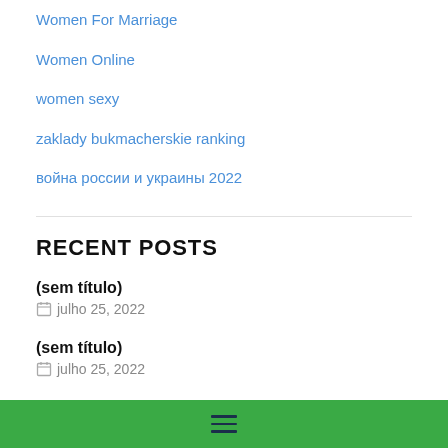Women For Marriage
Women Online
women sexy
zaklady bukmacherskie ranking
война россии и украины 2022
RECENT POSTS
(sem título)
julho 25, 2022
(sem título)
julho 25, 2022
(sem título)